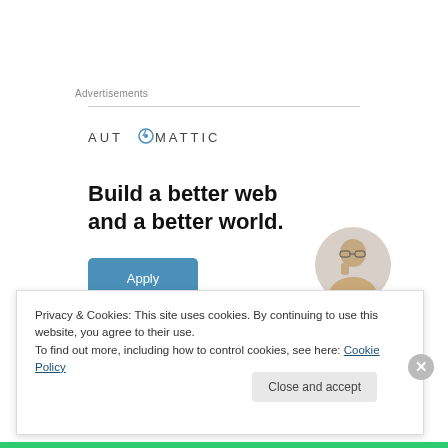Advertisements
[Figure (logo): Automattic logo with compass icon replacing the letter O]
Build a better web and a better world.
[Figure (illustration): Apply button (blue, rounded rectangle) with text 'Apply']
[Figure (photo): Circular cropped photo of a person wearing glasses, thinking pose]
Privacy & Cookies: This site uses cookies. By continuing to use this website, you agree to their use.
To find out more, including how to control cookies, see here: Cookie Policy
Close and accept